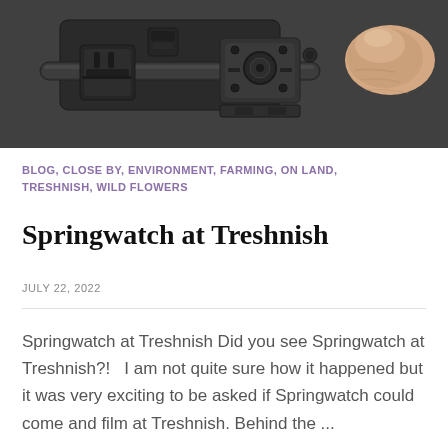[Figure (photo): Close-up photograph of a camera or video equipment with black mechanical parts, mount hardware, and a human thumb/finger visible on the right side. The equipment is dark/black with metallic fittings shown against a dark background.]
BLOG, CLOSE BY, ENVIRONMENT, FARMING, ON LAND, TRESHNISH, WILD FLOWERS
Springwatch at Treshnish
JULY 22, 2022
Springwatch at Treshnish Did you see Springwatch at Treshnish?!   I am not quite sure how it happened but it was very exciting to be asked if Springwatch could come and film at Treshnish. Behind the ...